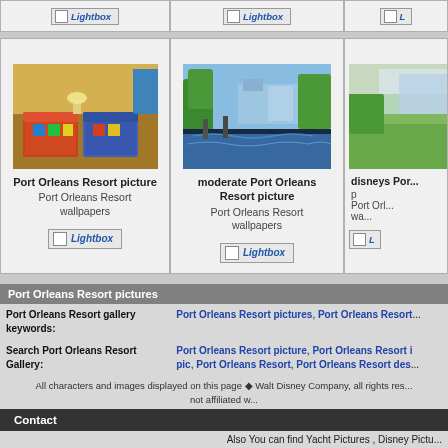[Figure (photo): Top strip with three partial card tops visible (buttons/headers cut off at top)]
[Figure (photo): Card 1: Port Orleans Resort picture - indoor hotel room with colorful beds. Title: 'Port Orleans Resort picture', subtitle: 'Port Orleans Resort wallpapers', Lightbox button.]
[Figure (photo): Card 2: moderate Port Orleans Resort picture - outdoor waterway scene with buildings. Title: 'moderate Port Orleans Resort picture', subtitle: 'Port Orleans Resort wallpapers', Lightbox button.]
[Figure (photo): Card 3 (partial): disneys Por... picture - outdoor green scene partially visible. Title and Lightbox partially cut off.]
Port Orleans Resort pictures
| Port Orleans Resort gallery keywords: | Port Orleans Resort pictures, Port Orleans Resort... |
| Search Port Orleans Resort Gallery: | Port Orleans Resort picture, Port Orleans Resort i pic, Port Orleans Resort, Port Orleans Resort des... |
All characters and images displayed on this page ◆ Walt Disney Company, all rights res... not affiliated w...
Contact
Also You can find Yacht Pictures , Disney Pictu...